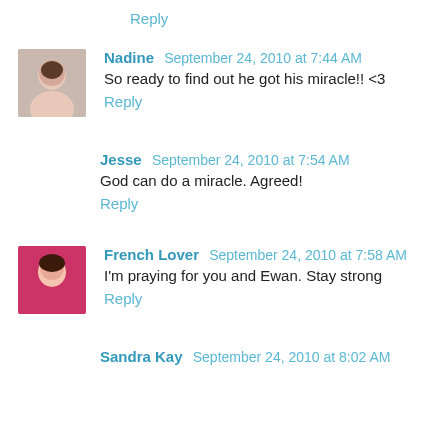Reply
Nadine  September 24, 2010 at 7:44 AM
So ready to find out he got his miracle!! <3
Reply
Jesse  September 24, 2010 at 7:54 AM
God can do a miracle. Agreed!
Reply
French Lover  September 24, 2010 at 7:58 AM
I'm praying for you and Ewan. Stay strong
Reply
Sandra Kay  September 24, 2010 at 8:02 AM